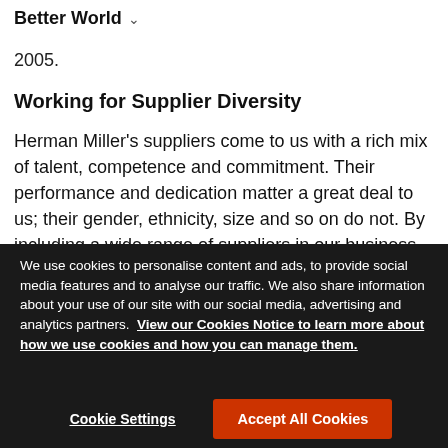Better World
2005.
Working for Supplier Diversity
Herman Miller's suppliers come to us with a rich mix of talent, competence and commitment. Their performance and dedication matter a great deal to us; their gender, ethnicity, size and so on do not. By including a wide range of suppliers in our business community, together we create great places to
We use cookies to personalise content and ads, to provide social media features and to analyse our traffic. We also share information about your use of our site with our social media, advertising and analytics partners. View our Cookies Notice to learn more about how we use cookies and how you can manage them.
Cookie Settings
Accept All Cookies